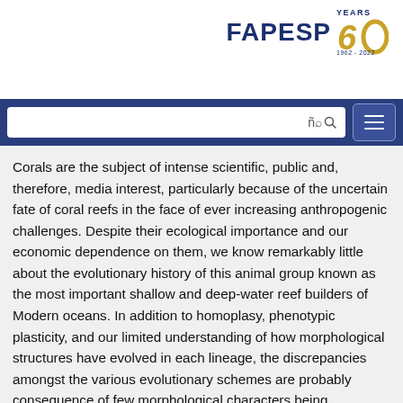[Figure (logo): FAPESP 60 Years logo (1962-2022) with stylized '60' graphic in blue and gold]
Corals are the subject of intense scientific, public and, therefore, media interest, particularly because of the uncertain fate of coral reefs in the face of ever increasing anthropogenic challenges. Despite their ecological importance and our economic dependence on them, we know remarkably little about the evolutionary history of this animal group known as the most important shallow and deep-water reef builders of Modern oceans. In addition to homoplasy, phenotypic plasticity, and our limited understanding of how morphological structures have evolved in each lineage, the discrepancies amongst the various evolutionary schemes are probably consequence of few morphological characters being available/used in the classification of scleractinian corals. In general, phylogenetic studies based on nucleotide sequences imply quite different evolutionary scenarios for scleractinians, particularly in terms of relationships between suborders and families. However, despite of that, to date molecular data did not contribute significantly to our understanding of the evolutionary origins of this